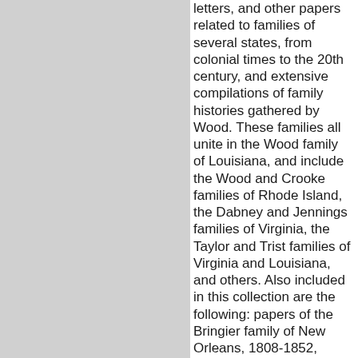letters, and other papers related to families of several states, from colonial times to the 20th century, and extensive compilations of family histories gathered by Wood. These families all unite in the Wood family of Louisiana, and include the Wood and Crooke families of Rhode Island, the Dabney and Jennings families of Virginia, the Taylor and Trist families of Virginia and Louisiana, and others. Also included in this collection are the following: papers of the Bringier family of New Orleans, 1808-1852, including